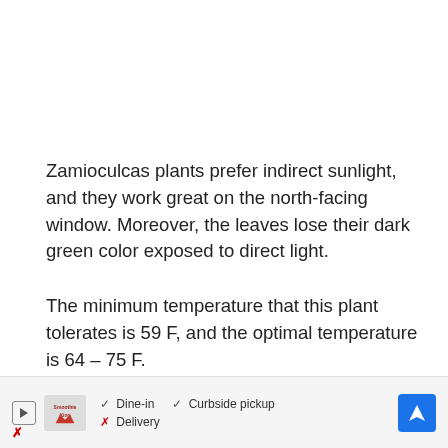Zamioculcas plants prefer indirect sunlight, and they work great on the north-facing window. Moreover, the leaves lose their dark green color exposed to direct light.
The minimum temperature that this plant tolerates is 59 F, and the optimal temperature is 64 – 75 F.
[Figure (other): Advertisement bar showing Smoothie King brand with Dine-in, Curbside pickup, and Delivery options, along with a navigation arrow icon]